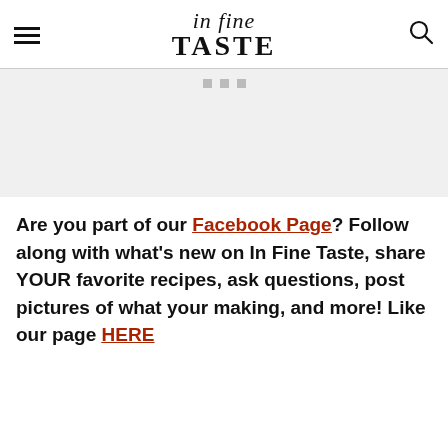in fine TASTE
[Figure (other): Advertisement placeholder with three small gray squares]
Are you part of our Facebook Page? Follow along with what's new on In Fine Taste, share YOUR favorite recipes, ask questions, post pictures of what your making, and more! Like our page HERE